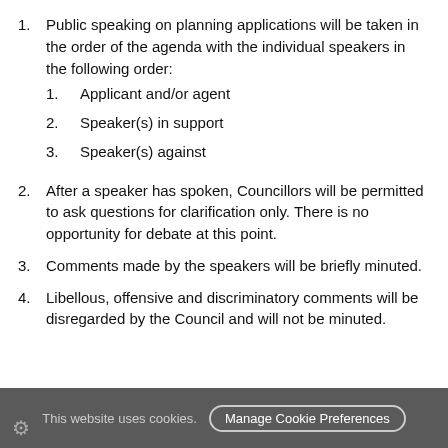1. Public speaking on planning applications will be taken in the order of the agenda with the individual speakers in the following order:
  1. Applicant and/or agent
  2. Speaker(s) in support
  3. Speaker(s) against
2. After a speaker has spoken, Councillors will be permitted to ask questions for clarification only. There is no opportunity for debate at this point.
3. Comments made by the speakers will be briefly minuted.
4. Libellous, offensive and discriminatory comments will be disregarded by the Council and will not be minuted.
This website uses cookies.  Manage Cookie Preferences